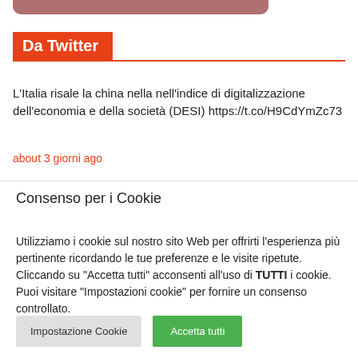[Figure (other): Pinkish-brown rounded bar at top of page]
Da Twitter
L'Italia risale la china nella nell'indice di digitalizzazione dell'economia e della società (DESI) https://t.co/H9CdYmZc73
about 3 giorni ago
Consenso per i Cookie
Utilizziamo i cookie sul nostro sito Web per offrirti l'esperienza più pertinente ricordando le tue preferenze e le visite ripetute. Cliccando su "Accetta tutti" acconsenti all'uso di TUTTI i cookie. Puoi visitare "Impostazioni cookie" per fornire un consenso controllato.
Impostazione Cookie | Accetta tutti